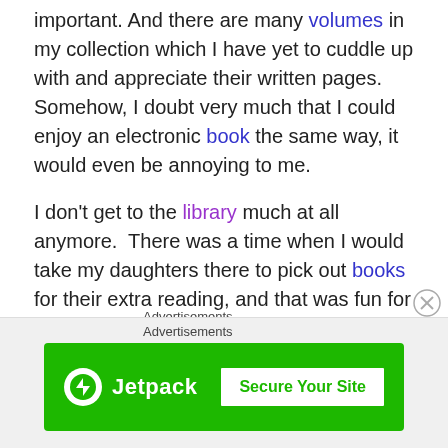important. And there are many volumes in my collection which I have yet to cuddle up with and appreciate their written pages.   Somehow, I doubt very much that I could enjoy an electronic book the same way, it would even be annoying to me.

I don't get to the library much at all anymore.  There was a time when I would take my daughters there to pick out books for their extra reading, and that was fun for us.  I borrowed several for myself when I was taking a writing course and wanted to read the ones mentioned in it.  But I prefer to own the books I read, I like to gather them and add them to my own personal collection.  Would I feel the
Advertisements
[Figure (other): Jetpack advertisement banner with green background showing Jetpack logo and 'Secure Your Site' button]